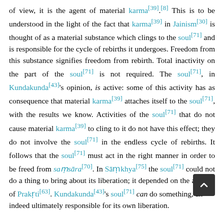of view, it is the agent of material karma[39].[8] This is to be understood in the light of the fact that karma[39] in Jainism[30] is thought of as a material substance which clings to the soul[71] and is responsible for the cycle of rebirths it undergoes. Freedom from this substance signifies freedom from rebirth. Total inactivity on the part of the soul[71] is not required. The soul[71], in Kundakunda[43]'s opinion, is active: some of this activity has as consequence that material karma[39] attaches itself to the soul[71], with the results we know. Activities of the soul[71] that do not cause material karma[39] to cling to it do not have this effect; they do not involve the soul[71] in the endless cycle of rebirths. It follows that the soul[71] must act in the right manner in order to be freed from saṃsāra[70]. In Sāṃkhya[75] the soul[71] could not do a thing to bring about its liberation; it depended on the activity of Prakṛti[63]. Kundakunda[43]'s soul[71] can do something, and indeed ultimately responsible for its own liberation.